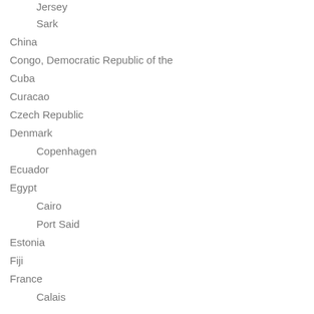Jersey
Sark
China
Congo, Democratic Republic of the
Cuba
Curacao
Czech Republic
Denmark
Copenhagen
Ecuador
Egypt
Cairo
Port Said
Estonia
Fiji
France
Calais